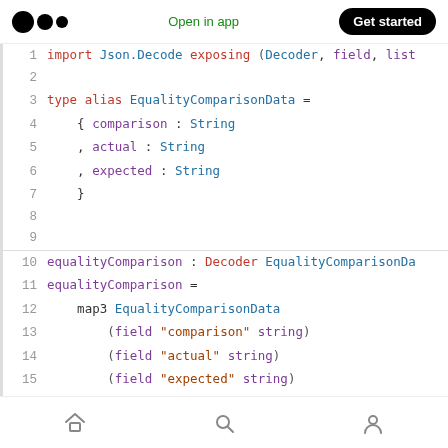Open in app | Get started
[Figure (screenshot): Code editor screenshot showing Elm code with syntax highlighting: import, type alias EqualityComparisonData, and equalityComparison decoder function spanning lines 1–15]
Home | Search | Profile navigation icons